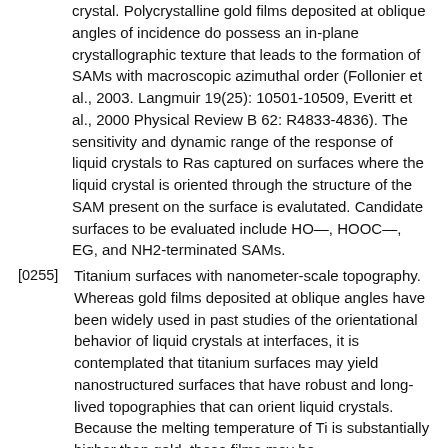crystal. Polycrystalline gold films deposited at oblique angles of incidence do possess an in-plane crystallographic texture that leads to the formation of SAMs with macroscopic azimuthal order (Follonier et al., 2003. Langmuir 19(25): 10501-10509, Everitt et al., 2000 Physical Review B 62: R4833-4836). The sensitivity and dynamic range of the response of liquid crystals to Ras captured on surfaces where the liquid crystal is oriented through the structure of the SAM present on the surface is evalutated. Candidate surfaces to be evaluated include HO—, HOOC—, EG, and NH2-terminated SAMs.
[0255] Titanium surfaces with nanometer-scale topography. Whereas gold films deposited at oblique angles have been widely used in past studies of the orientational behavior of liquid crystals at interfaces, it is contemplated that titanium surfaces may yield nanostructured surfaces that have robust and long-lived topographies that can orient liquid crystals. Because the melting temperature of Ti is substantially higher than gold, these films may be